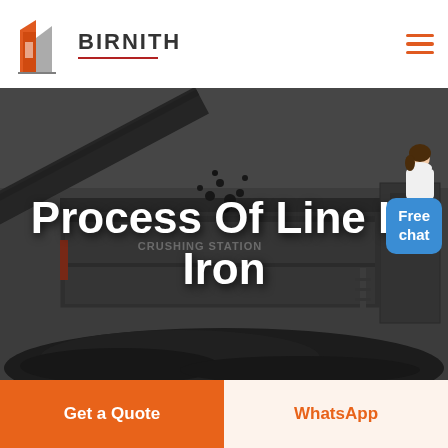BIRNITH
[Figure (photo): Industrial crushing station machinery with coal/ore material being processed on a conveyor belt, dark industrial setting]
Process Of Line In Iron
Free chat
Get a Quote
WhatsApp